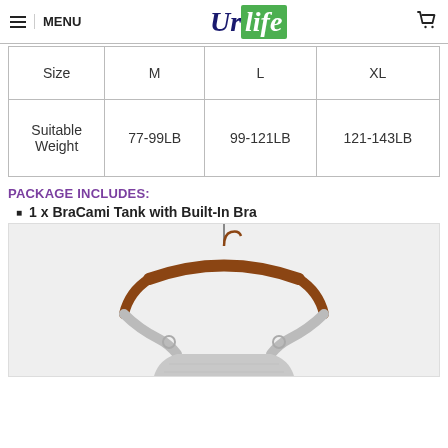MENU | UrLife logo | cart icon
| Size | M | L | XL |
| --- | --- | --- | --- |
| Suitable Weight | 77-99LB | 99-121LB | 121-143LB |
PACKAGE INCLUDES:
1 x BraCami Tank with Built-In Bra
[Figure (photo): BraCami tank top with built-in bra hanging on a wooden hanger against a white background]